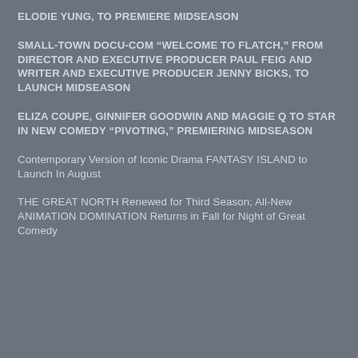ELODIE YUNG, TO PREMIERE MIDSEASON
SMALL-TOWN DOCU-COM “WELCOME TO FLATCH,” FROM DIRECTOR AND EXECUTIVE PRODUCER PAUL FEIG AND WRITER AND EXECUTIVE PRODUCER JENNY BICKS, TO LAUNCH MIDSEASON
ELIZA COUPE, GINNIFER GOODWIN AND MAGGIE Q TO STAR IN NEW COMEDY “PIVOTING,” PREMIERING MIDSEASON
Contemporary Version of Iconic Drama FANTASY ISLAND to Launch In August
THE GREAT NORTH Renewed for Third Season; All-New ANIMATION DOMINATION Returns in Fall for Night of Great Comedy